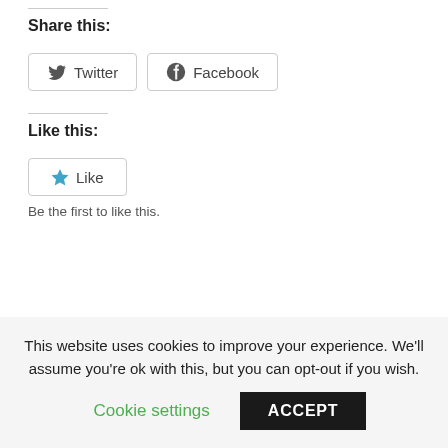Share this:
Twitter  Facebook
Like this:
Like
Be the first to like this.
This website uses cookies to improve your experience. We'll assume you're ok with this, but you can opt-out if you wish.
Cookie settings  ACCEPT